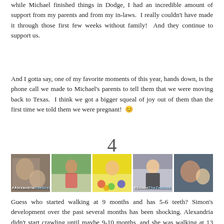while Michael finished things in Dodge, I had an incredible amount of support from my parents and from my in-laws.  I really couldn't have made it through those first few weeks without family!  And they continue to support us.
And I gotta say, one of my favorite moments of this year, hands down, is the phone call we made to Michael's parents to tell them that we were moving back to Texas.  I think we got a bigger squeal of joy out of them than the first time we told them we were pregnant!  😊
4
[Figure (photo): A collage of five photos showing children, with hashtags #AlexandriaTheGreat and #SimonTheZealous overlaid on the images.]
Guess who started walking at 9 months and has 5-6 teeth? Simon's development over the past several months has been shocking. Alexandria didn't start crawling until maybe 9-10 months, and she was walking at 13 months.  Simon figured out how to crawl, standup, and took he first steps